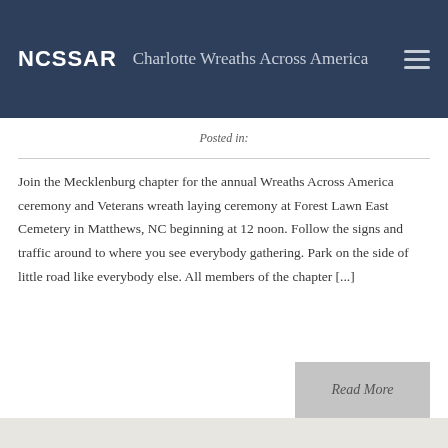NCSSAR — Charlotte Wreaths Across America
Posted in:
Join the Mecklenburg chapter for the annual Wreaths Across America ceremony and Veterans wreath laying ceremony at Forest Lawn East Cemetery in Matthews, NC beginning at 12 noon. Follow the signs and traffic around to where you see everybody gathering. Park on the side of little road like everybody else. All members of the chapter [...]
Read More